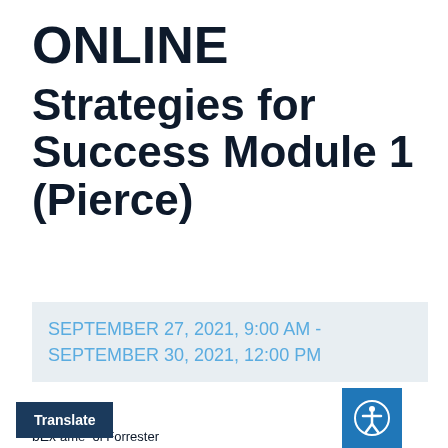ONLINE Strategies for Success Module 1 (Pierce)
SEPTEMBER 27, 2021, 9:00 AM - SEPTEMBER 30, 2021, 12:00 PM
By WebEx … ame … ol Forrester